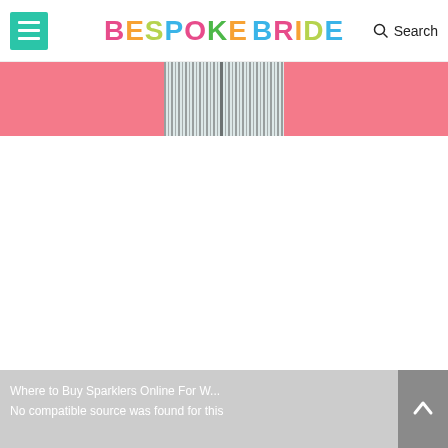BESPOKE BRIDE — Search
[Figure (photo): Website banner with pink/coral background and a striped fabric/dress image in the center]
[Figure (screenshot): White content area — main body of the Bespoke Bride website page, mostly blank/loading]
Where to Buy Sparklers Online For W...
No compatible source was found for this